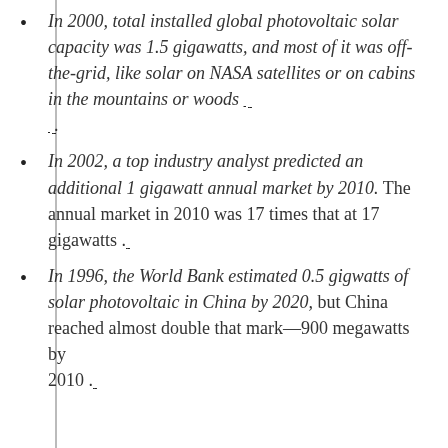In 2000, total installed global photovoltaic solar capacity was 1.5 gigawatts, and most of it was off-the-grid, like solar on NASA satellites or on cabins in the mountains or woods [link] [link].
In 2002, a top industry analyst predicted an additional 1 gigawatt annual market by 2010. The annual market in 2010 was 17 times that at 17 gigawatts [link].
In 1996, the World Bank estimated 0.5 gigwatts of solar photovoltaic in China by 2020, but China reached almost double that mark—900 megawatts by 2010 [link].